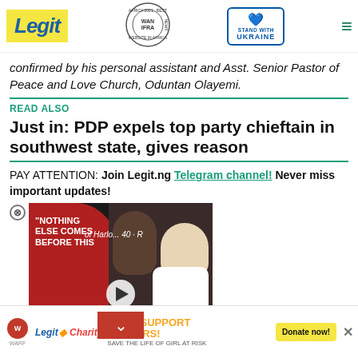Legit | WAN IFRA 2021 Best News Website in Africa | Stand With Ukraine
confirmed by his personal assistant and Asst. Senior Pastor of Peace and Love Church, Oduntan Olayemi.
READ ALSO
Just in: PDP expels top party chieftain in southwest state, gives reason
PAY ATTENTION: Join Legit.ng Telegram channel! Never miss important updates!
[Figure (screenshot): Embedded video player with thumbnail showing two people, overlay text 'NOTHING ELSE COMES BEFORE THIS', play button, and red chevron down button]
said:
s yesterday and we decided to und Olomore. We were referred
[Figure (infographic): Advertisement banner: WARF Legit Charity - YOUR SUPPORT MATTERS! SAVE THE LIFE OF GIRL AT RISK - Donate now! button]